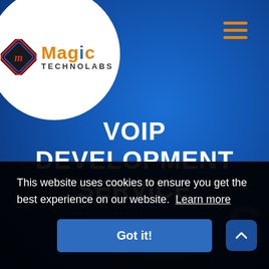[Figure (logo): Magic Technolabs logo inside a white circle in top-left corner]
[Figure (infographic): Hamburger menu icon (three orange horizontal lines) in top-right corner]
VOIP DEVELOPMENT SERVICE
This website uses cookies to ensure you get the best experience on our website. Learn more
Got it!